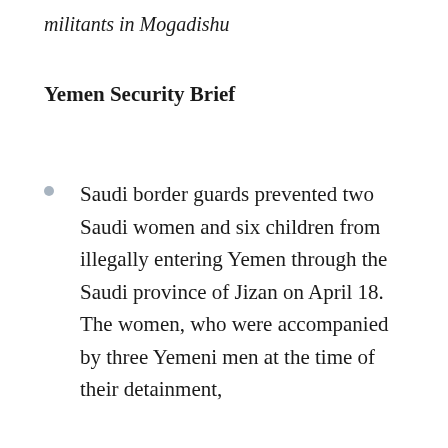militants in Mogadishu
Yemen Security Brief
Saudi border guards prevented two Saudi women and six children from illegally entering Yemen through the Saudi province of Jizan on April 18. The women, who were accompanied by three Yemeni men at the time of their detainment,